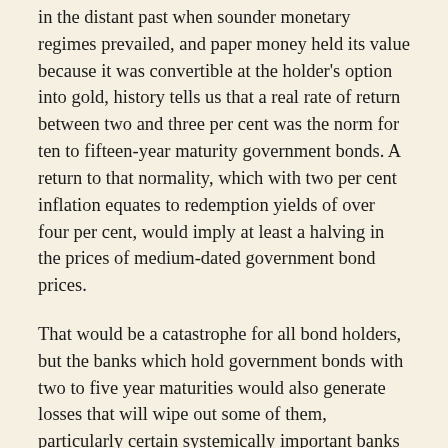in the distant past when sounder monetary regimes prevailed, and paper money held its value because it was convertible at the holder's option into gold, history tells us that a real rate of return between two and three per cent was the norm for ten to fifteen-year maturity government bonds. A return to that normality, which with two per cent inflation equates to redemption yields of over four per cent, would imply at least a halving in the prices of medium-dated government bond prices.
That would be a catastrophe for all bond holders, but the banks which hold government bonds with two to five year maturities would also generate losses that will wipe out some of them, particularly certain systemically important banks in Europe. And as all market traders know, when you move from extreme overvaluation, you tend to move towards significant undervaluation, so there is no guarantee a bear market stops at normality.
It is in truth very difficult to climb down from an officially created bond market bubble in an orderly fashion, because the